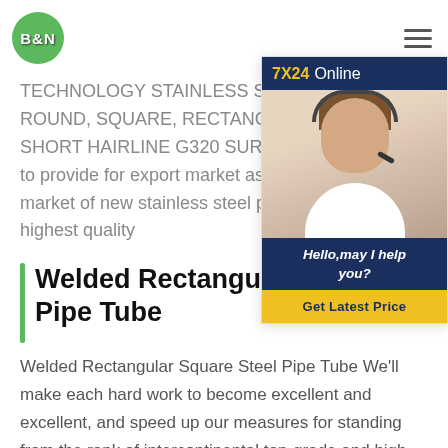B&N [logo] | hamburger menu
TECHNOLOGY STAINLESS STEEL W... ROUND, SQUARE, RECTANGLE PIP... SHORT HAIRLINE G320 SURFACE. W... to provide for export market as well as... market of new stainless steel pipe prod... highest quality
[Figure (photo): Chat widget with '7X24 Online' header in dark navy, photo of a smiling female customer service agent wearing a headset, greeting text 'Hello,may I help you?' and yellow 'Get Latest Price' button]
Welded Rectangular Square Steel Pipe Tube
Welded Rectangular Square Steel Pipe Tube We'll make each hard work to become excellent and excellent, and speed up our measures for standing from the rank of intercontinental top-grade and high-